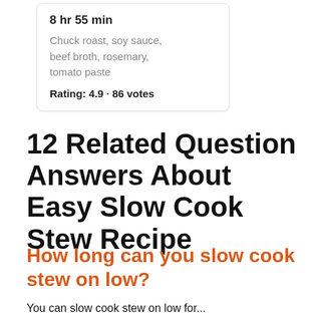8 hr 55 min
Chuck roast, soy sauce, beef broth, rosemary, tomato paste
Rating: 4.9 · 86 votes
12 Related Question Answers About Easy Slow Cook Stew Recipe
How long can you slow cook stew on low?
You can slow cook stew on low for...